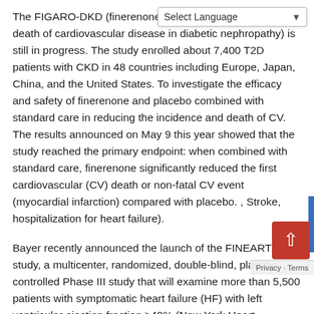The FIGARO-DKD (finerenone reduces the incidence and death of cardiovascular disease in diabetic nephropathy) is still in progress. The study enrolled about 7,400 T2D patients with CKD in 48 countries including Europe, Japan, China, and the United States. To investigate the efficacy and safety of finerenone and placebo combined with standard care in reducing the incidence and death of CV. The results announced on May 9 this year showed that the study reached the primary endpoint: when combined with standard care, finerenone significantly reduced the first cardiovascular (CV) death or non-fatal CV event (myocardial infarction) compared with placebo. , Stroke, hospitalization for heart failure).
Bayer recently announced the launch of the FINEARTS-HF study, a multicenter, randomized, double-blind, placebo-controlled Phase III study that will examine more than 5,500 patients with symptomatic heart failure (HF) with left ventricular ejection fraction ≥40% (New York Heart Association Class II-IV) Finerenone and placebo were...